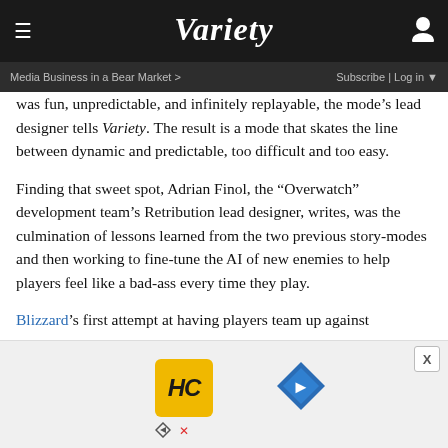VARIETY
Media Business in a Bear Market >    Subscribe | Log in
was fun, unpredictable, and infinitely replayable, the mode’s lead designer tells Variety. The result is a mode that skates the line between dynamic and predictable, too difficult and too easy.
Finding that sweet spot, Adrian Finol, the “Overwatch” development team’s Retribution lead designer, writes, was the culmination of lessons learned from the two previous story-modes and then working to fine-tune the AI of new enemies to help players feel like a bad-ass every time they play.
Blizzard’s first attempt at having players team up against
[Figure (other): Advertisement banner with HC logo badge (yellow square with HC text) and a blue diamond road sign icon, plus close button X and ad controls.]